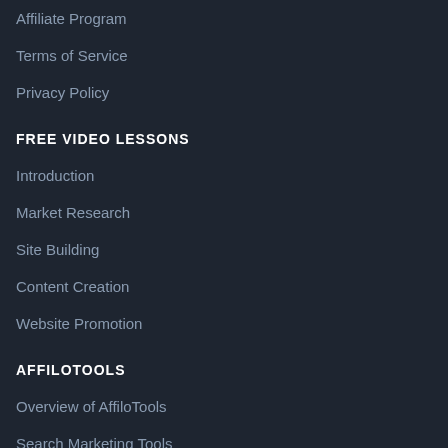Affiliate Program
Terms of Service
Privacy Policy
FREE VIDEO LESSONS
Introduction
Market Research
Site Building
Content Creation
Website Promotion
AFFILOTOOLS
Overview of AffiloTools
Search Marketing Tools
Competition Analysis Tools